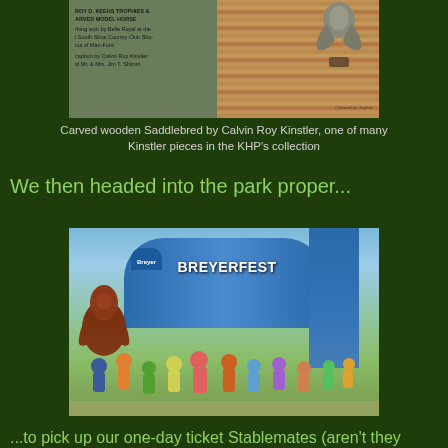[Figure (photo): Carved wooden Saddlebred trophy display case on the left showing plaque text, and a wooden base with eagle/bird sculpture on the right]
Carved wooden Saddlebred by Calvin Roy Kinstler, one of many Kinstler pieces in the KHP's collection
We then headed into the park proper...
[Figure (photo): Crowd of people at Breyerfest entrance with large blue banners reading BREYERFEST and Breyer logos, an inflatable brown horse on the left]
...to pick up our one-day ticket Stablemates (aren't they fabulous?)...